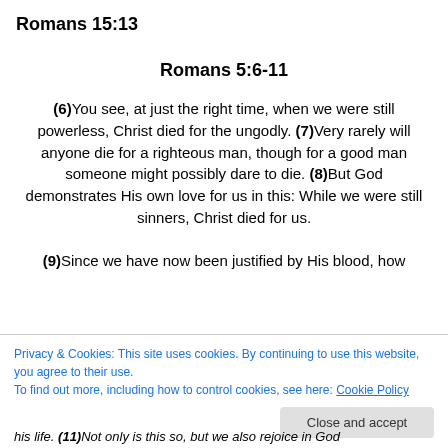Romans 15:13
Romans 5:6-11
(6)You see, at just the right time, when we were still powerless, Christ died for the ungodly. (7)Very rarely will anyone die for a righteous man, though for a good man someone might possibly dare to die. (8)But God demonstrates His own love for us in this: While we were still sinners, Christ died for us.

(9)Since we have now been justified by His blood, how

His life. (11)Not only is this so, but we also rejoice in God
Privacy & Cookies: This site uses cookies. By continuing to use this website, you agree to their use.
To find out more, including how to control cookies, see here: Cookie Policy

Close and accept